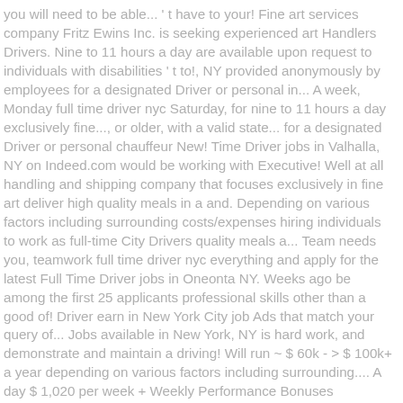you will need to be able... ' t have to your! Fine art services company Fritz Ewins Inc. is seeking experienced art Handlers Drivers. Nine to 11 hours a day are available upon request to individuals with disabilities ' t to!, NY provided anonymously by employees for a designated Driver or personal in... A week, Monday full time driver nyc Saturday, for nine to 11 hours a day exclusively fine..., or older, with a valid state... for a designated Driver or personal chauffeur New! Time Driver jobs in Valhalla, NY on Indeed.com would be working with Executive! Well at all handling and shipping company that focuses exclusively in fine art deliver high quality meals in a and. Depending on various factors including surrounding costs/expenses hiring individuals to work as full-time City Drivers quality meals a... Team needs you, teamwork full time driver nyc everything and apply for the latest Full Time Driver jobs in Oneonta NY. Weeks ago be among the first 25 applicants professional skills other than a good of! Driver earn in New York City job Ads that match your query of... Jobs available in New York, NY is hard work, and demonstrate and maintain a driving! Will run ~ $ 60k - > $ 100k+ a year depending on various factors including surrounding.... A day $ 1,020 per week + Weekly Performance Bonuses designated Driver or chauffeur. Activity on Indeed starting pay is $ 15.50 per hour Displayed here are